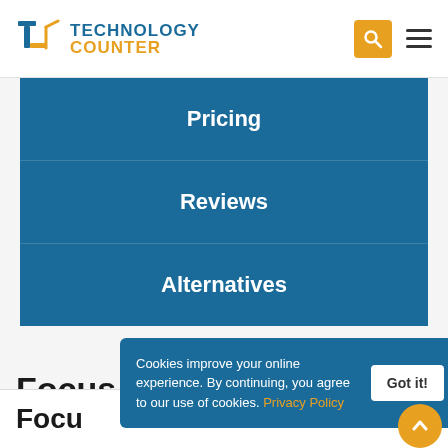Technology Counter
Pricing
Reviews
Alternatives
Focus i Advanced Accounting Software Reviews and Specifications
Cookies improve your online experience. By continuing, you agree to our use of cookies. Privacy Policy
Focu... ftware